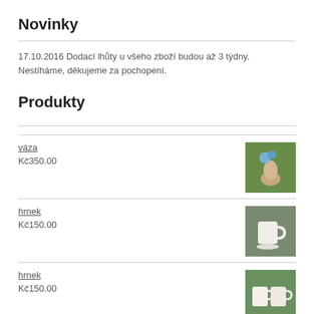Novinky
17.10.2016 Dodací lhůty u všeho zboží budou až 3 týdny. Nestíháme, děkujeme za pochopení.
Produkty
váza
Kč350.00
hrnek
Kč150.00
hrnek
Kč150.00